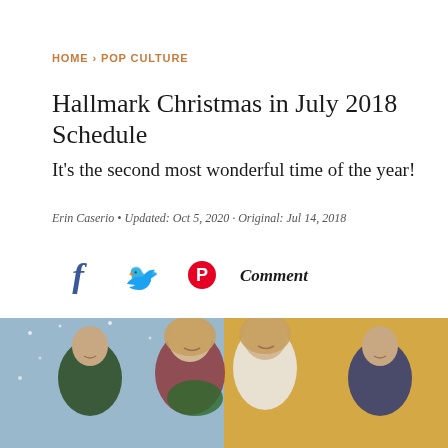HOME › POP CULTURE
Hallmark Christmas in July 2018 Schedule
It's the second most wonderful time of the year!
Erin Caserio • Updated: Oct 5, 2020 · Original: Jul 14, 2018
[Figure (infographic): Social share icons: Facebook (blue f), Twitter (blue bird), Pinterest (red P), and Comment label in italic]
[Figure (photo): Promotional photo of two couples from Hallmark Christmas movies, split scene: snowy winter scene on left half with a man and blonde woman holding Christmas greenery, sunny yellow background on right half with a woman and a man in suit]